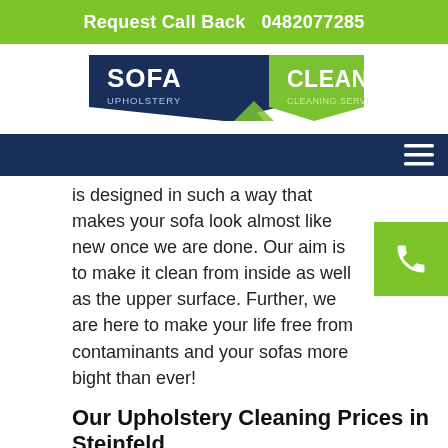Request Call Back  0482077285
[Figure (logo): Sofa Cleaning Upholstery Cleaning Services logo with dark blue banner and green arrow]
[Figure (other): Dark blue navigation bar with hamburger menu icon on the right]
is designed in such a way that makes your sofa look almost like new once we are done. Our aim is to make it clean from inside as well as the upper surface. Further, we are here to make your life free from contaminants and your sofas more bight than ever!
Our Upholstery Cleaning Prices in Steinfeld
To ensure that everyone who requires quality upholstery cleaning service can get it, we provide the best services at the affordable prices. Call us on 0482077285 and get the services whenever you want.
Do You Need a Sofa Cleaner?
If you are one of the persons .....needs a SOFA CLEANER